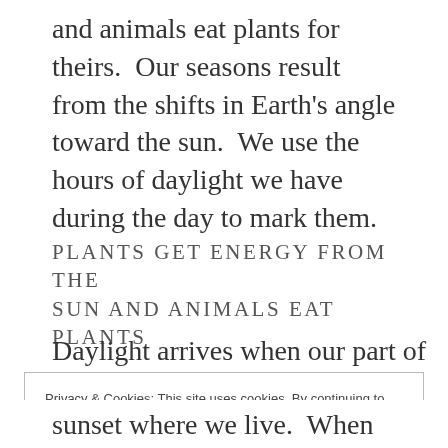and animals eat plants for theirs.  Our seasons result from the shifts in Earth's angle toward the sun.  We use the hours of daylight we have during the day to mark them.
PLANTS GET ENERGY FROM THE SUN AND ANIMALS EAT PLANTS
Daylight arrives when our part of the
Privacy & Cookies: This site uses cookies. By continuing to use this website, you agree to their use.
To find out more, including how to control cookies, see here: Cookie Policy
sunset where we live.  When we don't